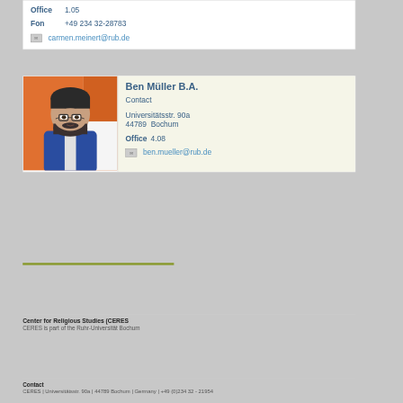Office  1.05
Fon  +49 234 32-28783
carmen.meinert@rub.de
Ben Müller B.A.
Contact
Universitätsstr. 90a
44789  Bochum
Office  4.08
ben.mueller@rub.de
[Figure (photo): Photo of Ben Müller, a young man with glasses and a beard, wearing a blue hoodie, photographed against an orange and white background]
Center for Religious Studies (CERES)
CERES is part of the Ruhr-Universität Bochum
Contact
CERES | Universitätsstr. 90a | 44789 Bochum | Germany | +49 (0)234 32 - 21954